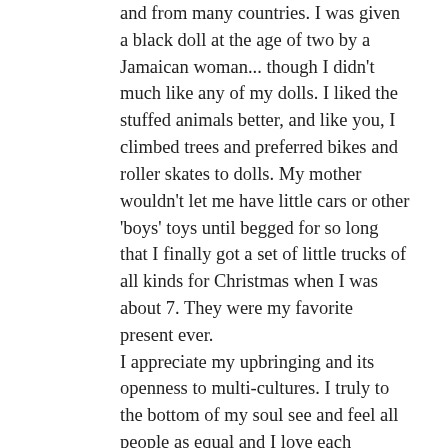and from many countries. I was given a black doll at the age of two by a Jamaican woman... though I didn't much like any of my dolls. I liked the stuffed animals better, and like you, I climbed trees and preferred bikes and roller skates to dolls. My mother wouldn't let me have little cars or other 'boys' toys until begged for so long that I finally got a set of little trucks of all kinds for Christmas when I was about 7. They were my favorite present ever.
I appreciate my upbringing and its openness to multi-cultures. I truly to the bottom of my soul see and feel all people as equal and I love each person's uniqueness as well as the multi-facets of their cultures.
But I missed out on the gender-equality in my upbringing – or more on having a lack of differentiation. My parents had a relationship of 'different but very equal' as far as gender. So at least I didn't witness power issues between genders. I grew up to be open to any gender identity people wish for themselves just as their